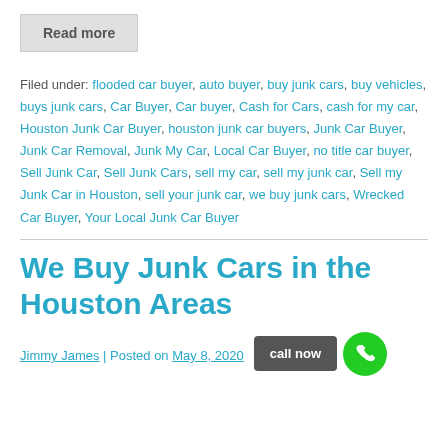Read more
Filed under: flooded car buyer, auto buyer, buy junk cars, buy vehicles, buys junk cars, Car Buyer, Car buyer, Cash for Cars, cash for my car, Houston Junk Car Buyer, houston junk car buyers, Junk Car Buyer, Junk Car Removal, Junk My Car, Local Car Buyer, no title car buyer, Sell Junk Car, Sell Junk Cars, sell my car, sell my junk car, Sell my Junk Car in Houston, sell your junk car, we buy junk cars, Wrecked Car Buyer, Your Local Junk Car Buyer
We Buy Junk Cars in the Houston Areas
Jimmy James | Posted on May 8, 2020